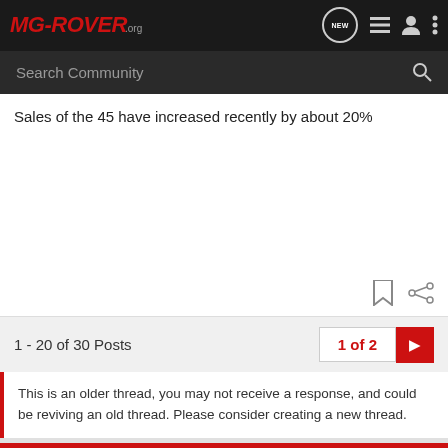MG-ROVER.ORG
Sales of the 45 have increased recently by about 20%
1 - 20 of 30 Posts
1 of 2
This is an older thread, you may not receive a response, and could be reviving an old thread. Please consider creating a new thread.